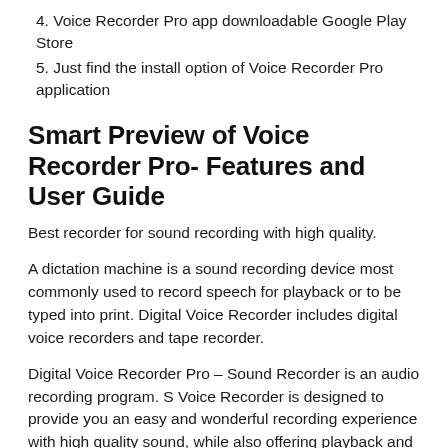4. Voice Recorder Pro app downloadable Google Play Store
5. Just find the install option of Voice Recorder Pro application
Smart Preview of Voice Recorder Pro- Features and User Guide
Best recorder for sound recording with high quality.
A dictation machine is a sound recording device most commonly used to record speech for playback or to be typed into print. Digital Voice Recorder includes digital voice recorders and tape recorder.
Digital Voice Recorder Pro – Sound Recorder is an audio recording program. S Voice Recorder is designed to provide you an easy and wonderful recording experience with high quality sound, while also offering playback and editing capabilities.